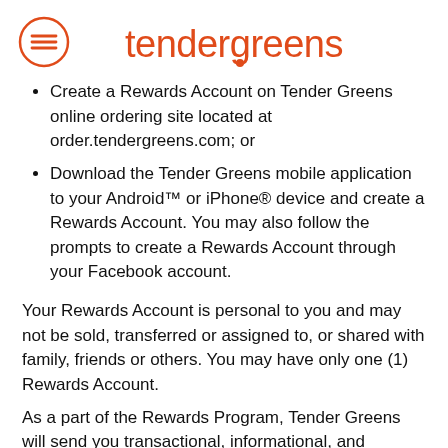tendergreens
Create a Rewards Account on Tender Greens online ordering site located at order.tendergreens.com; or
Download the Tender Greens mobile application to your Android™ or iPhone® device and create a Rewards Account. You may also follow the prompts to create a Rewards Account through your Facebook account.
Your Rewards Account is personal to you and may not be sold, transferred or assigned to, or shared with family, friends or others. You may have only one (1) Rewards Account.
As a part of the Rewards Program, Tender Greens will send you transactional, informational, and promotional messages and/or offers. These communications may happen in the form of push